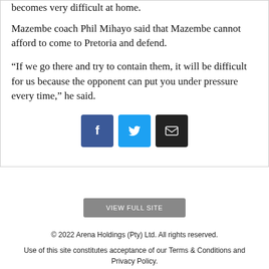becomes very difficult at home.
Mazembe coach Phil Mihayo said that Mazembe cannot afford to come to Pretoria and defend.
“If we go there and try to contain them, it will be difficult for us because the opponent can put you under pressure every time,” he said.
[Figure (other): Social share buttons: Facebook (blue), Twitter (light blue), Email (dark/black)]
VIEW FULL SITE
© 2022 Arena Holdings (Pty) Ltd. All rights reserved.
Use of this site constitutes acceptance of our Terms & Conditions and Privacy Policy.